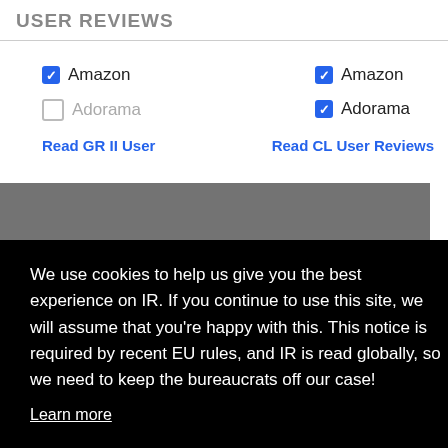USER REVIEWS
Amazon (checked), Adorama (unchecked) — left column
Amazon (checked), Adorama (checked) — right column
Read GR II User
Read CL User Reviews
We use cookies to help us give you the best experience on IR. If you continue to use this site, we will assume that you're happy with this. This notice is required by recent EU rules, and IR is read globally, so we need to keep the bureaucrats off our case!
Learn more
Got it!